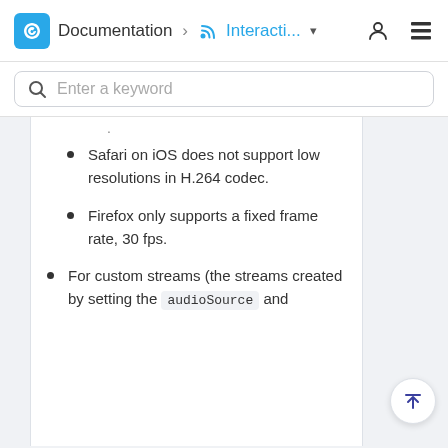Documentation > Interacti...
Safari on iOS does not support low resolutions in H.264 codec.
Firefox only supports a fixed frame rate, 30 fps.
For custom streams (the streams created by setting the audioSource and